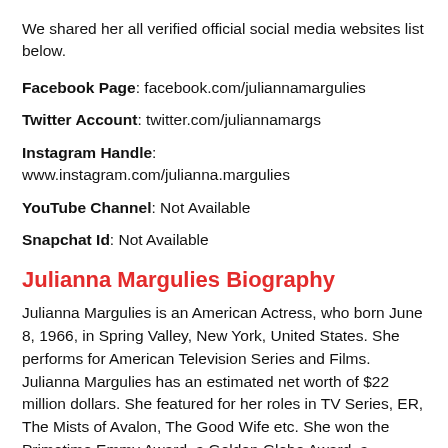We shared her all verified official social media websites list below.
Facebook Page: facebook.com/juliannamargulies
Twitter Account: twitter.com/juliannamargs
Instagram Handle: www.instagram.com/julianna.margulies
YouTube Channel: Not Available
Snapchat Id: Not Available
Julianna Margulies Biography
Julianna Margulies is an American Actress, who born June 8, 1966, in Spring Valley, New York, United States. She performs for American Television Series and Films. Julianna Margulies has an estimated net worth of $22 million dollars. She featured for her roles in TV Series, ER, The Mists of Avalon, The Good Wife etc. She won the Primetime Emmy Award, a Golden Globe Award, a Television Critics Association Award